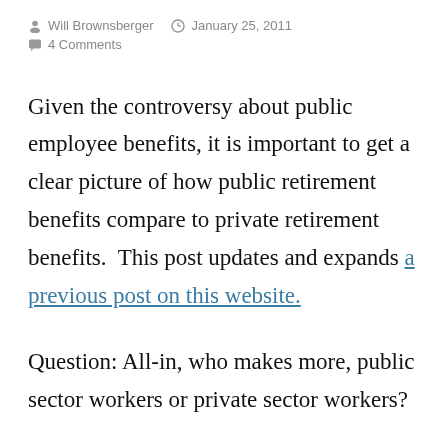Will Brownsberger   January 25, 2011   4 Comments
Given the controversy about public employee benefits, it is important to get a clear picture of how public retirement benefits compare to private retirement benefits.  This post updates and expands a previous post on this website.
Question: All-in, who makes more, public sector workers or private sector workers?